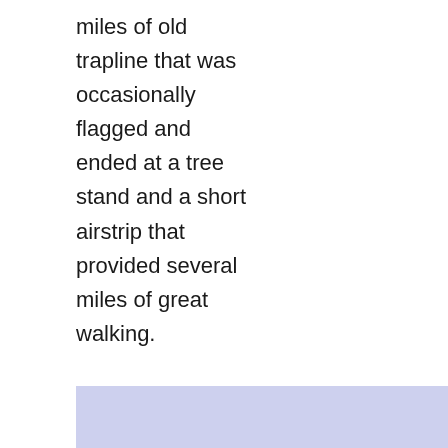miles of old trapline that was occasionally flagged and ended at a tree stand and a short airstrip that provided several miles of great walking.
[Figure (photo): Partial view of a photo with a light blue-lavender color, partially visible at the bottom of the page.]